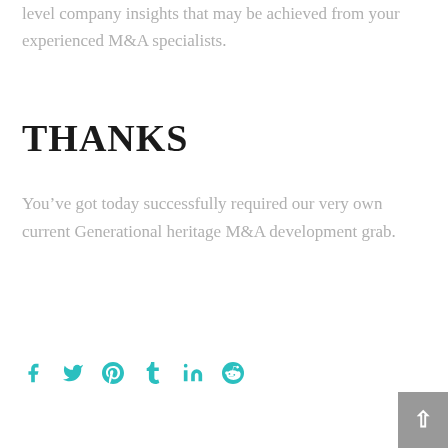level company insights that may be achieved from your experienced M&A specialists.
THANKS
You've got today successfully required our very own current Generational heritage M&A development grab.
[Figure (infographic): Social media share icons: Facebook, Twitter, Pinterest, Tumblr, LinkedIn, Reddit in teal color]
[Figure (other): Back to top button, grey square with white upward arrow]